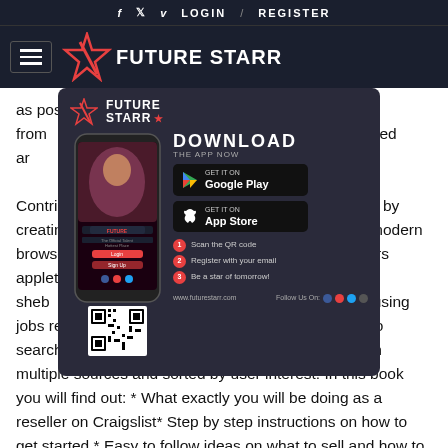f  t  v  LOGIN  /  REGISTER
[Figure (logo): FutureStarr logo with hamburger menu icon on dark navy background]
[Figure (screenshot): FutureStarr app download modal popup showing phone mockup, Google Play and App Store buttons, QR code, and 3 steps to download]
as possible, browse the top listing from bidding on properties in your desired area.

Contribute to boost the talent development by creating an account in the open source of craigslist from a modern browser. When you access craigslist from a modern browser. yoopers appleton janesville racine green bay northern MI northern WI sheboygan community events for sale gigs housing jobs resumes services. billings > for sale.. «» press to search craigslist. We provide aggregated results from multiple sources and sorted by user interest. In this book you will find out: * What exactly you will be doing as a reseller on Craigslist* Step by step instructions on how to get started * Easy to follow ideas on what to sell and how to find it* Inspiration on ways to communicate and. Are you looking for